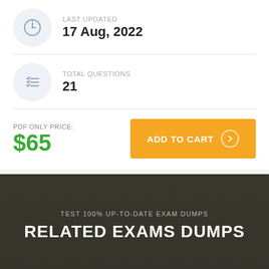LAST UPDATED
17 Aug, 2022
TOTAL QUESTIONS
21
PDF ONLY PRICE:
$65
ADD TO CART
TEST 100% UP-TO-DATE EXAM DUMPS
RELATED EXAMS DUMPS